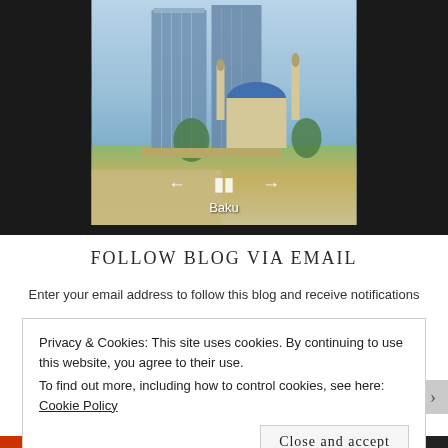[Figure (photo): Slideshow image showing Baku cityscape with the Flame Towers skyscraper and a mosque with blue dome and minarets, with navigation controls (back arrow, pause, forward arrow) and label 'Baku' at the bottom.]
FOLLOW BLOG VIA EMAIL
Enter your email address to follow this blog and receive notifications
Privacy & Cookies: This site uses cookies. By continuing to use this website, you agree to their use.
To find out more, including how to control cookies, see here: Cookie Policy
Close and accept